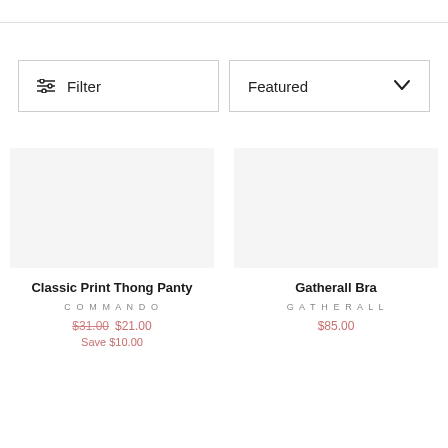[Figure (screenshot): Filter button with sliders icon on the left]
[Figure (screenshot): Featured dropdown selector with chevron]
Classic Print Thong Panty
COMMANDO
$31.00  $21.00
Save $10.00
Gatherall Bra
GATHERALL
$85.00